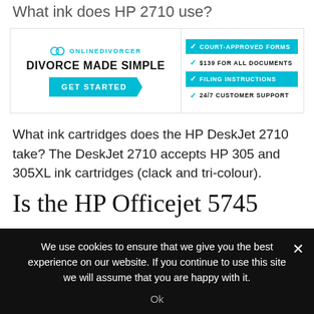What ink does HP 2710 use?
[Figure (infographic): OnlineDivorcer advertisement banner: logo and 'DIVORCE MADE SIMPLE' with GET STARTED button on left; four feature bullets (Court-Approved Forms, $139 For All Documents, Filing Instructions, 24/7 Customer Support) on right with cyan highlights.]
What ink cartridges does the HP DeskJet 2710 take? The DeskJet 2710 accepts HP 305 and 305XL ink cartridges (clack and tri-colour).
Is the HP Officejet 5745
We use cookies to ensure that we give you the best experience on our website. If you continue to use this site we will assume that you are happy with it.